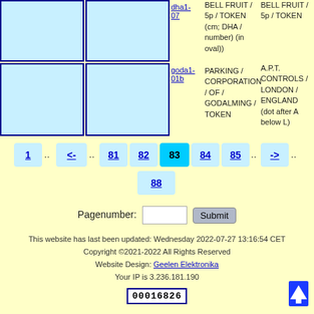[Figure (other): Four blue-bordered light-blue image cells arranged in 2x2 grid (coin/token images, placeholders)]
dha1-07
BELL FRUIT / 5p / TOKEN (cm; DHA / number) (in oval))
BELL FRUIT / 5p / TOKEN
goda1-01b
PARKING / CORPORATION / OF / GODALMING / TOKEN
A.P.T. CONTROLS / LONDON / ENGLAND (dot after A below L)
1
<-
81
82
83
84
85
->
88
Pagenumber:
This website has last been updated: Wednesday 2022-07-27 13:16:54 CET
Copyright ©2021-2022 All Rights Reserved
Website Design: Geelen Elektronika
Your IP is 3.236.181.190
00016826